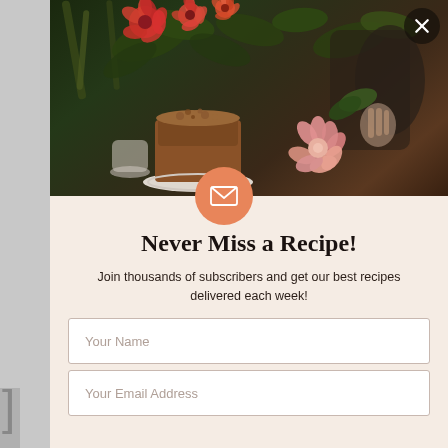[Figure (photo): Photo of a cake with crumble topping on a white plate, surrounded by red and orange flowers and a pink dahlia, with a person's hand arranging flowers in the background. Dark moody background.]
Never Miss a Recipe!
Join thousands of subscribers and get our best recipes delivered each week!
Your Name
Your Email Address